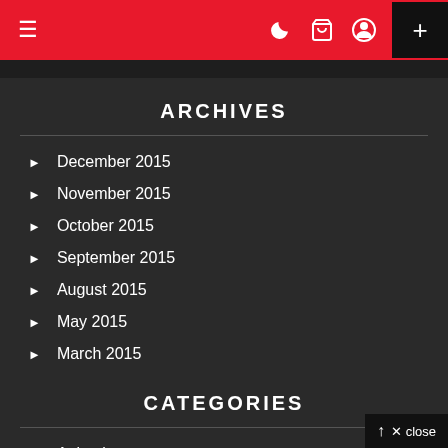≡  ☽ 🛒 👤  +
ARCHIVES
December 2015
November 2015
October 2015
September 2015
August 2015
May 2015
March 2015
CATEGORIES
Animals
Funny
NSFW